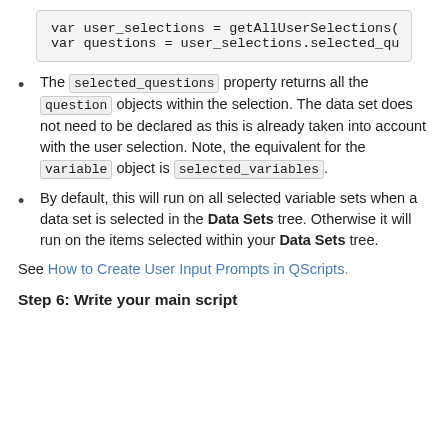[Figure (screenshot): Code block showing two lines: var user_selections = getAllUserSelections( and var questions = user_selections.selected_qu]
The selected_questions property returns all the question objects within the selection. The data set does not need to be declared as this is already taken into account with the user selection. Note, the equivalent for the variable object is selected_variables.
By default, this will run on all selected variable sets when a data set is selected in the Data Sets tree. Otherwise it will run on the items selected within your Data Sets tree.
See How to Create User Input Prompts in QScripts.
Step 6: Write your main script